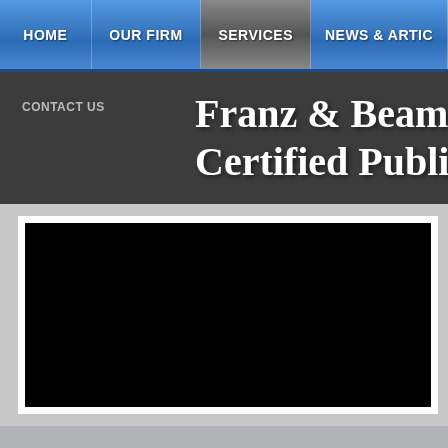HOME | OUR FIRM | SERVICES | NEWS & ARTIC
CONTACT US
Franz & Beame
Certified Public
[Figure (screenshot): Black image/banner area inside a white frame on a gray background, likely a photo slideshow or banner image that is not loaded.]